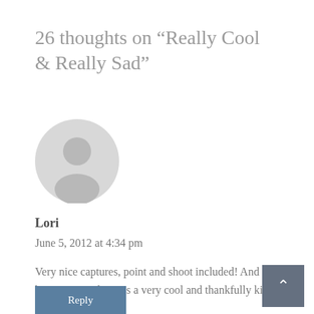26 thoughts on “Really Cool & Really Sad”
[Figure (illustration): Default gray avatar/profile placeholder icon showing a silhouette of a person]
Lori
June 5, 2012 at 4:34 pm
Very nice captures, point and shoot included! And I’m happy to say that it is a very cool and thankfully kinda happy story.
Reply